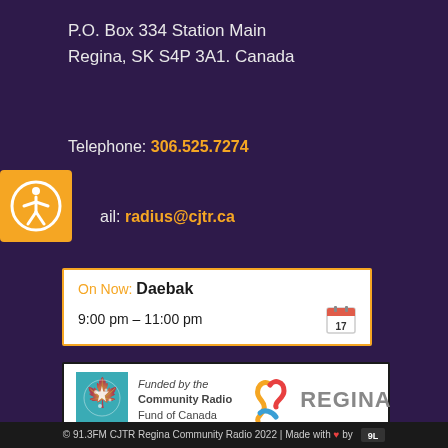P.O. Box 334 Station Main
Regina, SK S4P 3A1. Canada
Telephone: 306.525.7274
[Figure (illustration): Accessibility icon: orange square with white person in circle symbol]
ail: radius@cjtr.ca
On Now: Daebak
9:00 pm – 11:00 pm
[Figure (logo): Funded by the Community Radio Fund of Canada logo with teal maple leaf, and City of Regina logo with colorful R and REGINA text]
© 91.3FM CJTR Regina Community Radio 2022 | Made with ♥ by